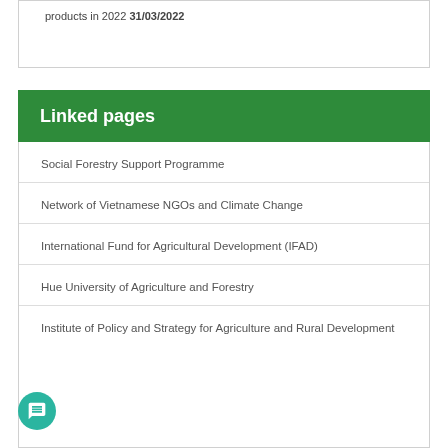products in 2022 31/03/2022
Linked pages
Social Forestry Support Programme
Network of Vietnamese NGOs and Climate Change
International Fund for Agricultural Development (IFAD)
Hue University of Agriculture and Forestry
Institute of Policy and Strategy for Agriculture and Rural Development